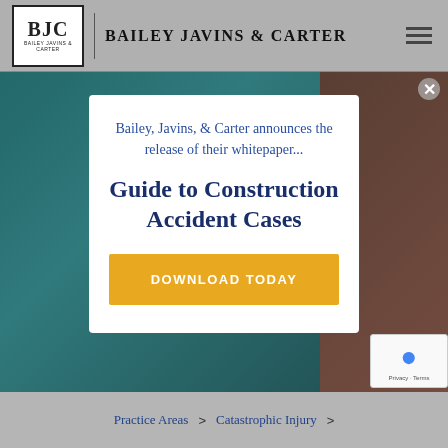Bailey Javins & Carter
[Figure (logo): BJC logo box with letters BJC in bold serif font]
Bailey, Javins, & Carter announces the release of their whitepaper...
Guide to Construction Accident Cases
DOWNLOAD TODAY
Practice Areas > Catastrophic Injury >